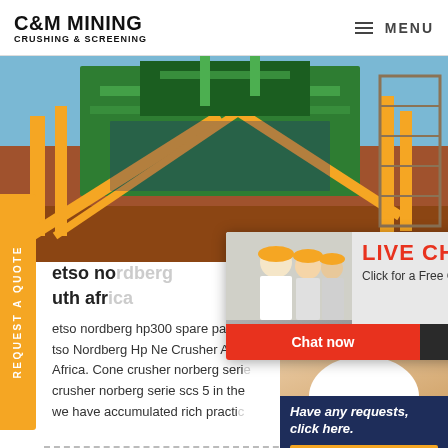C&M MINING CRUSHING & SCREENING | MENU
[Figure (photo): Mining crushing and screening machinery with yellow and green conveyor belt structure against a blue sky and red earth background]
REQUEST A QUOTE
etso nordberg hp300 spare par
tso Nordberg Hp Ne Crusher Au
Africa. Cone crusher norberg serie crusher norberg serie scs 5 in the we have accumulated rich practi
[Figure (screenshot): Live Chat popup with workers in hard hats, title LIVE CHAT, subtitle Click for a Free Consultation, buttons Chat now and Chat later]
[Figure (photo): Customer service agent woman smiling with headset, with Have any requests, click here. text box and Quotation button]